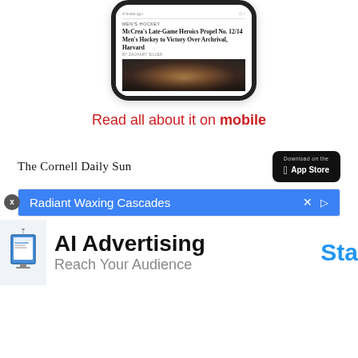[Figure (screenshot): Smartphone screen showing The Cornell Daily Sun mobile app with MEN'S HOCKEY article headline: McCrea's Late-Game Heroics Propel No. 12/14 Men's Hockey to Victory Over Archrival, Harvard by Zachary Silver, with a hockey crowd image below]
Read all about it on mobile
[Figure (logo): The Cornell Daily Sun masthead logo in blackletter/old-English font]
[Figure (screenshot): Download on the App Store button (black rounded rectangle with Apple logo)]
[Figure (screenshot): Advertisement banner: Radiant Waxing Cascades in blue, with X close button and triangle play button]
[Figure (infographic): AI Advertising - Reach Your Audience advertisement with monitor icon on left and 'Sta' text (truncated) in blue on right]